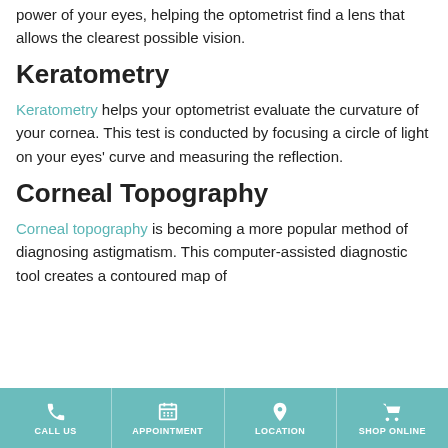power of your eyes, helping the optometrist find a lens that allows the clearest possible vision.
Keratometry
Keratometry helps your optometrist evaluate the curvature of your cornea. This test is conducted by focusing a circle of light on your eyes' curve and measuring the reflection.
Corneal Topography
Corneal topography is becoming a more popular method of diagnosing astigmatism. This computer-assisted diagnostic tool creates a contoured map of
CALL US | APPOINTMENT | LOCATION | SHOP ONLINE